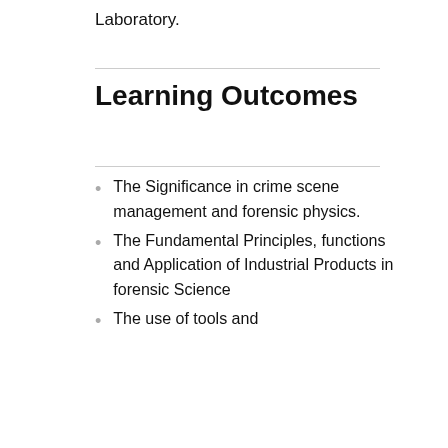Laboratory.
Learning Outcomes
The Significance in crime scene management and forensic physics.
The Fundamental Principles, functions and Application of Industrial Products in forensic Science
The use of tools and